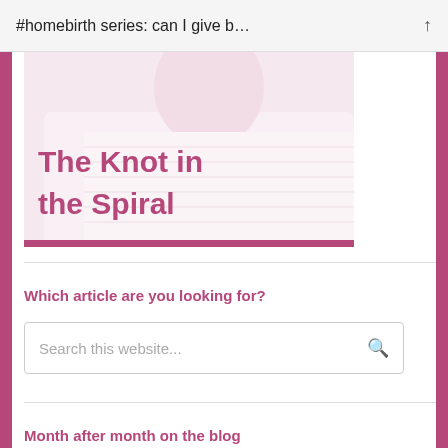#homebirth series: can I give b...
[Figure (illustration): Blog article thumbnail image showing a person in white clothing with text overlay 'The Knot in the Spiral' in pink/magenta on a light pink background]
Which article are you looking for?
Search this website...
Month after month on the blog